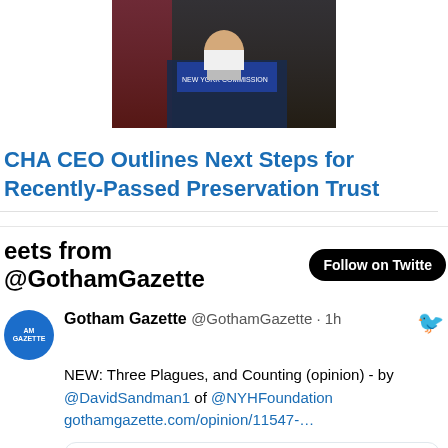[Figure (photo): Photo of a person at a podium with an American flag and New York state seal in the background]
CHA CEO Outlines Next Steps for Recently-Passed Preservation Trust
Tweets from @GothamGazette  Follow on Twitter
Gotham Gazette @GothamGazette · 1h
NEW: Three Plagues, and Counting (opinion) - by @DavidSandman1 of @NYHFoundation gothamgazette.com/opinion/11547-…